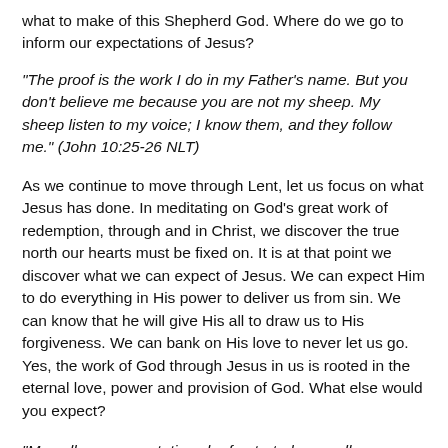what to make of this Shepherd God. Where do we go to inform our expectations of Jesus?
“The proof is the work I do in my Father’s name. But you don’t believe me because you are not my sheep. My sheep listen to my voice; I know them, and they follow me.” (John 10:25-26 NLT)
As we continue to move through Lent, let us focus on what Jesus has done. In meditating on God’s great work of redemption, through and in Christ, we discover the true north our hearts must be fixed on. It is at that point we discover what we can expect of Jesus. We can expect Him to do everything in His power to deliver us from sin. We can know that he will give His all to draw us to His forgiveness. We can bank on His love to never let us go. Yes, the work of God through Jesus in us is rooted in the eternal love, power and provision of God. What else would you expect?
“May all your expectations be frustrated, may all your plans be thwarted, may all your desires be withered into nothing, that you may experience the powerlessness and poverty of a child and can sing and dance in the love of God who is Father, Son and Spirit.”